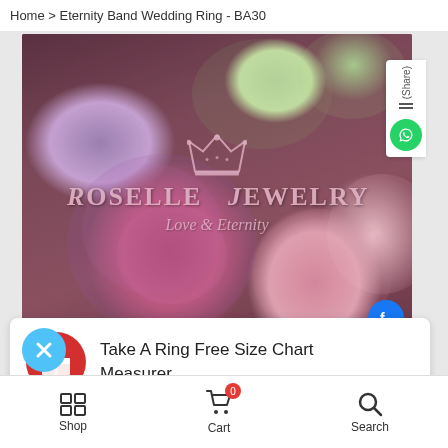Home > Eternity Band Wedding Ring - BA30
[Figure (photo): Roselle Jewelry hero banner with roses background and crown logo. Text reads 'ROSELLE JEWELRY Love & Eternity']
Take A Ring Free Size Chart Measurer
Shop | Cart (0) | Search